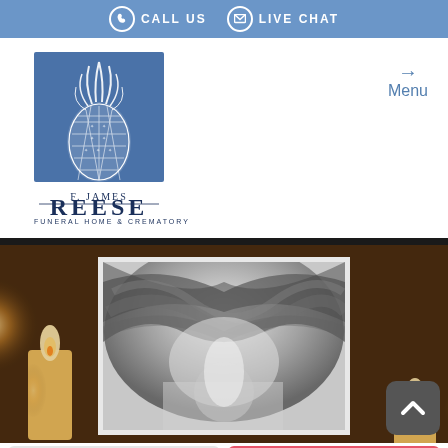CALL US   LIVE CHAT
[Figure (logo): F. James Reese Funeral Home & Crematory logo with pineapple icon on blue square background]
Menu
[Figure (photo): Black and white close-up portrait photo with candle bokeh background]
Share A Memory
Send Flowers